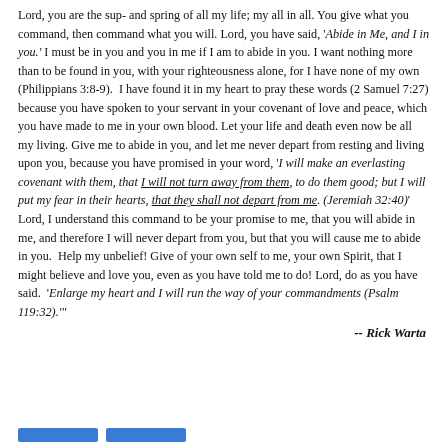Lord, you are the sup- and spring of all my life; my all in all. You give what you command, then command what you will. Lord, you have said, 'Abide in Me, and I in you.' I must be in you and you in me if I am to abide in you. I want nothing more than to be found in you, with your righteousness alone, for I have none of my own (Philippians 3:8-9). I have found it in my heart to pray these words (2 Samuel 7:27) because you have spoken to your servant in your covenant of love and peace, which you have made to me in your own blood. Let your life and death even now be all my living. Give me to abide in you, and let me never depart from resting and living upon you, because you have promised in your word, 'I will make an everlasting covenant with them, that I will not turn away from them, to do them good; but I will put my fear in their hearts, that they shall not depart from me. (Jeremiah 32:40)' Lord, I understand this command to be your promise to me, that you will abide in me, and therefore I will never depart from you, but that you will cause me to abide in you. Help my unbelief! Give of your own self to me, your own Spirit, that I might believe and love you, even as you have told me to do! Lord, do as you have said. 'Enlarge my heart and I will run the way of your commandments (Psalm 119:32).'
-- Rick Warta